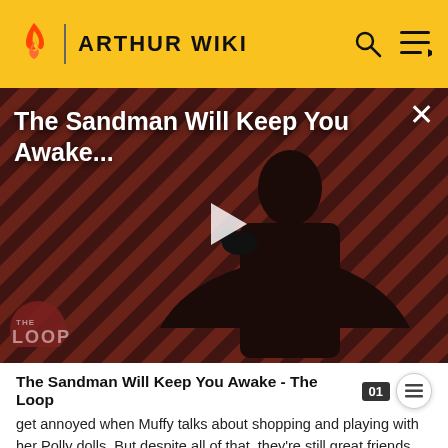ARTHUR WIKI
[Figure (screenshot): Video thumbnail for 'The Sandman Will Keep You Awake...' showing a dark-clad figure against a diagonal red and black striped background, with a play button overlay and 'THE LOOP' logo in the lower left. A close (X) button appears at top right.]
The Sandman Will Keep You Awake - The Loop
get annoyed when Muffy talks about shopping and playing with her Polly dolls. But despite all of that, they're still great friends.
Buster Baxter – Muffy and Buster are good friends.